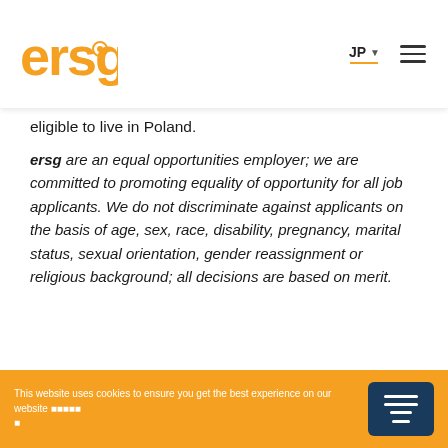ersg | JP
eligible to live in Poland.
ersg are an equal opportunities employer; we are committed to promoting equality of opportunity for all job applicants. We do not discriminate against applicants on the basis of age, sex, race, disability, pregnancy, marital status, sexual orientation, gender reassignment or religious background; all decisions are based on merit.
This website uses cookies to ensure you get the best experience on our website